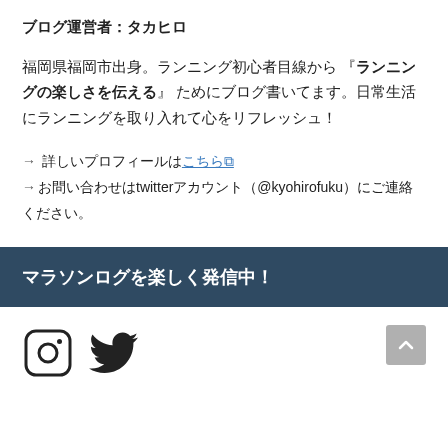ブログ運営者：タカヒロ
福岡県福岡市出身。ランニング初心者目線から『ランニングの楽しさを伝える』ためにブログ書いてます。日常生活にランニングを取り入れて心をリフレッシュ！
→ 詳しいプロフィールはこちら
→お問い合わせはtwitterアカウント（@kyohirofuku）にご連絡ください。
マラソンログを楽しく発信中！
[Figure (illustration): Instagram and Twitter social media icons, with a back-to-top button]